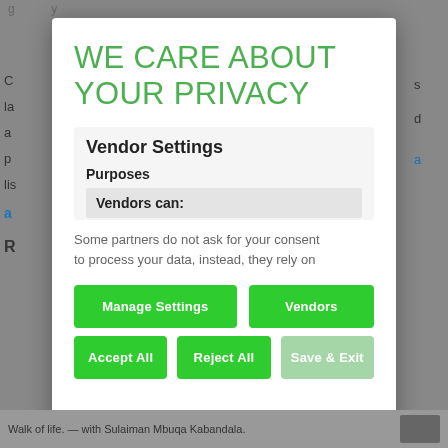WE CARE ABOUT YOUR PRIVACY
Vendor Settings
Purposes
Vendors can:
Some partners do not ask for your consent to process your data, instead, they rely on
Manage Settings
Vendors
Accept All
Reject All
Save & Exit
Walk of life. — with Sulaiman Mbuqa Kabandala.